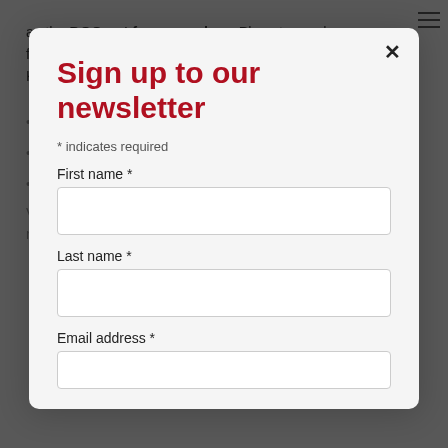as the DOC out from our shop. Place traps along fencelines, hedges, stream banks, fallen logs or tree roots. Keep entrances clear of weeds or fallen leaves.
Use eggs and/or fresh or salted rabbit as lures.
Check traps at least once a month and change the lures.
Make sure you always wear gloves when handling your traps.
View our trapping and baiting poster to ensure you get the best results.
[Figure (screenshot): Newsletter sign-up modal overlay with title 'Sign up to our newsletter', required fields indicator, First name, Last name, and Email address form fields, and a close button.]
Sign up to our newsletter
* indicates required
First name *
Last name *
Email address *